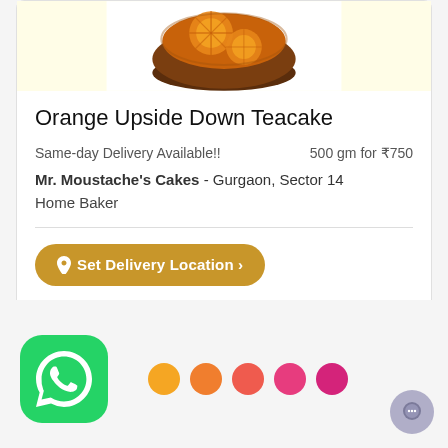[Figure (photo): Orange Upside Down Teacake product photo on cream/yellow background]
Orange Upside Down Teacake
Same-day Delivery Available!!    500 gm for ₹750
Mr. Moustache's Cakes - Gurgaon, Sector 14
Home Baker
📍 Set Delivery Location ›
[Figure (logo): WhatsApp green logo icon]
[Figure (infographic): Five gradient dots from orange to hot pink]
[Figure (other): Small chat bubble icon at bottom right]